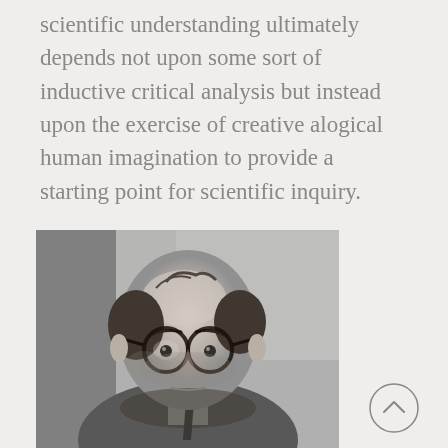scientific understanding ultimately depends not upon some sort of inductive critical analysis but instead upon the exercise of creative alogical human imagination to provide a starting point for scientific inquiry.
[Figure (photo): Black and white portrait photograph of a middle-aged balding man with dark-rimmed glasses, wearing a tweed jacket and tie, photographed outdoors.]